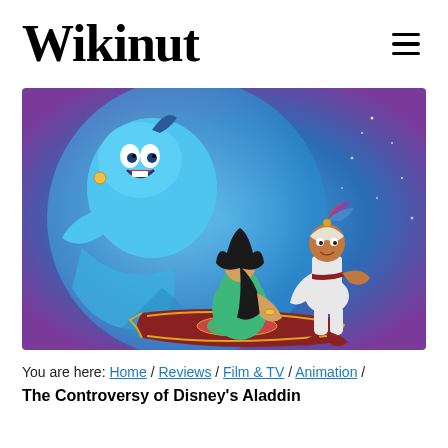Wikinut
[Figure (illustration): Disney Aladdin movie poster illustration showing Genie (large blue figure), Jasmine (sitting on magic carpet in green outfit), and Aladdin (in white outfit) against a blue starry background]
You are here: Home / Reviews / Film & TV / Animation /
The Controversy of Disney's Aladdin